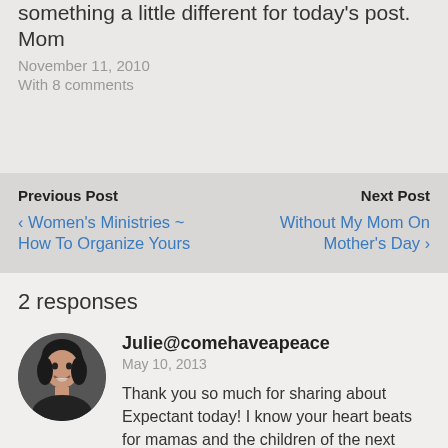something a little different for today's post. Mom
November 11, 2010
With 8 comments
Previous Post
‹ Women's Ministries ~ How To Organize Yours
Next Post
Without My Mom On Mother's Day ›
2 responses
Julie@comehaveapeace
May 10, 2013
Thank you so much for sharing about Expectant today! I know your heart beats for mamas and the children of the next generation, and I'm so glad to have the book featured here today. LOVE reaching moms with you!